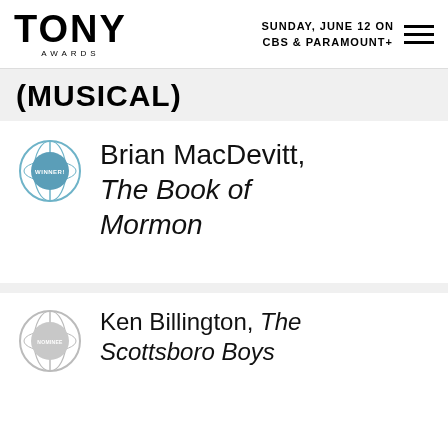Tony Awards — SUNDAY, JUNE 12 ON CBS & PARAMOUNT+
(MUSICAL)
Brian MacDevitt, The Book of Mormon — WINNER
Ken Billington, The Scottsboro Boys — NOMINEE